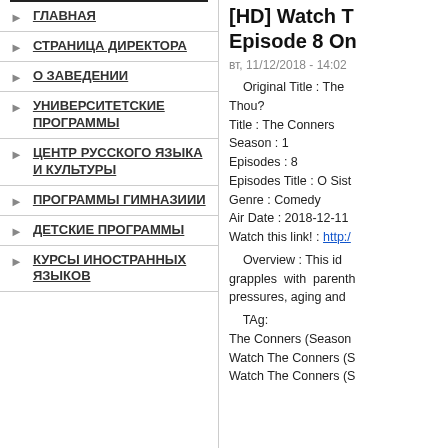ГЛАВНАЯ
СТРАНИЦА ДИРЕКТОРА
О ЗАВЕДЕНИИ
УНИВЕРСИТЕТСКИЕ ПРОГРАММЫ
ЦЕНТР РУССКОГО ЯЗЫКА И КУЛЬТУРЫ
ПРОГРАММЫ ГИМНАЗИИИ
ДЕТСКИЕ ПРОГРАММЫ
КУРСЫ ИНОСТРАННЫХ ЯЗЫКОВ
[HD] Watch T... Episode 8 On...
вт, 11/12/2018 - 14:02
Original Title : The... Thou?
Title : The Conners
Season : 1
Episodes : 8
Episodes Title : O Sist...
Genre : Comedy
Air Date : 2018-12-11
Watch this link! : http://...
Overview : This id... grapples with parenth... pressures, aging and ...
TAg:
The Conners (Season...
Watch The Conners (S...
Watch The Conners (S...